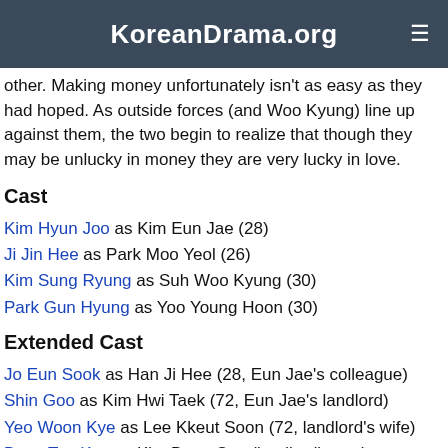KoreanDrama.org
other. Making money unfortunately isn't as easy as they had hoped. As outside forces (and Woo Kyung) line up against them, the two begin to realize that though they may be unlucky in money they are very lucky in love.
Cast
Kim Hyun Joo as Kim Eun Jae (28)
Ji Jin Hee as Park Moo Yeol (26)
Kim Sung Ryung as Suh Woo Kyung (30)
Park Gun Hyung as Yoo Young Hoon (30)
Extended Cast
Jo Eun Sook as Han Ji Hee (28, Eun Jae's colleague)
Shin Goo as Kim Hwi Taek (72, Eun Jae's landlord)
Yeo Woon Kye as Lee Kkeut Soon (72, landlord's wife)
Bong Tae Kyu as Kim Bong Gyu (landlord's son)
Sung Ji Roo as Jo Min Ho (30)